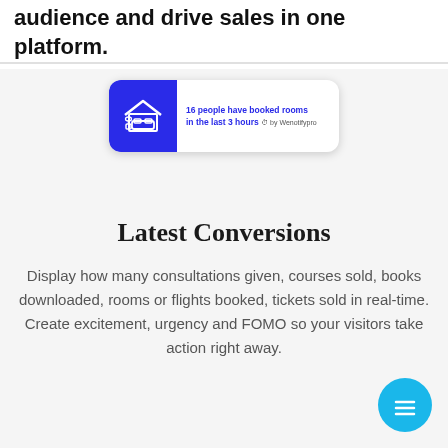audience and drive sales in one platform.
[Figure (screenshot): Notification popup showing a hotel/bed icon in blue square with text: 16 people have booked rooms in the last 3 hours, by Wenotifypro]
Latest Conversions
Display how many consultations given, courses sold, books downloaded, rooms or flights booked, tickets sold in real-time. Create excitement, urgency and FOMO so your visitors take action right away.